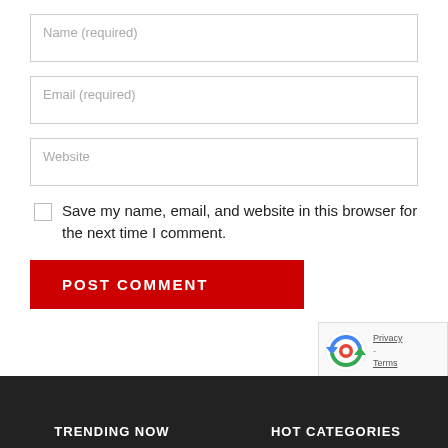Name (required)
Email (required)
Website
Save my name, email, and website in this browser for the next time I comment.
POST COMMENT
[Figure (other): reCAPTCHA badge with logo, Privacy and Terms links]
TRENDING NOW   HOT CATEGORIES